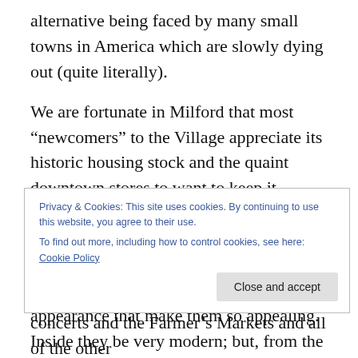alternative being faced by many small towns in America which are slowly dying out (quite literally).
We are fortunate in Milford that most “comers” to the Village appreciate its historic housing stock and the quaint downtown stores to want to keep it looking that way. There are no restrictive ordinances in place to prevent making updates to the old homes, but most do so with an eye to maintaining the style and appearance that make them so appealing. Inside they be very modern; but, from the street, they still look much like they looked when they were
Privacy & Cookies: This site uses cookies. By continuing to use this website, you agree to their use.
To find out more, including how to control cookies, see here: Cookie Policy
concerts and the Farmer’s Markets and all of the other